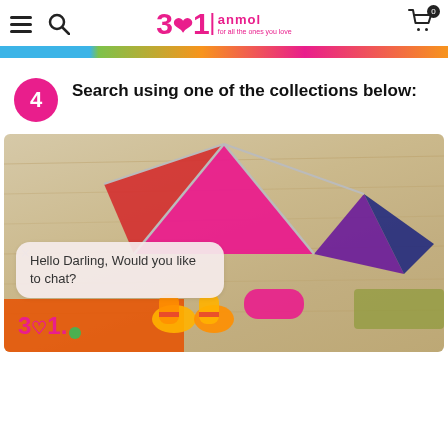31 anmol - navigation header with hamburger menu, search, logo, and cart icon
[Figure (screenshot): Partial banner image at top with colorful horizontal strip (blue, orange, pink, green)]
4  Search using one of the collections below:
[Figure (photo): Product photo showing colorful fabric umbrella/quilt toy on wooden background with a chat bubble overlay saying 'Hello Darling, Would you like to chat?' and the 31 anmol logo at bottom left with a green online indicator dot.]